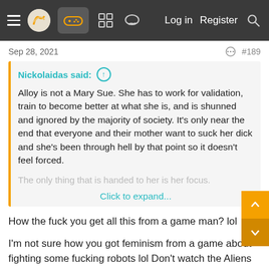≡  [logo]  [gamepad icon]  [grid icon]  [chat icon]    Log in   Register   [search icon]
Sep 28, 2021
#189
Nickolaidas said: ↑
Alloy is not a Mary Sue. She has to work for validation, train to become better at what she is, and is shunned and ignored by the majority of society. It's only near the end that everyone and their mother want to suck her dick and she's been through hell by that point so it doesn't feel forced.
The only thing that is handed to her is her focus.
Click to expand...
How the fuck you get all this from a game man? lol
I'm not sure how you got feminism from a game about fighting some fucking robots lol Don't watch the Aliens series, if they made that into a series today or a game today, you'd just say the same shit about that. A massive theme in that series is motherhood.